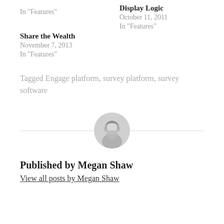In "Features"
Display Logic
October 11, 2011
In "Features"
Share the Wealth
November 7, 2013
In "Features"
Tagged Engage platform, survey platform, survey software
[Figure (photo): Circular avatar photo of Megan Shaw, a woman with dark hair, smiling]
Published by Megan Shaw
View all posts by Megan Shaw